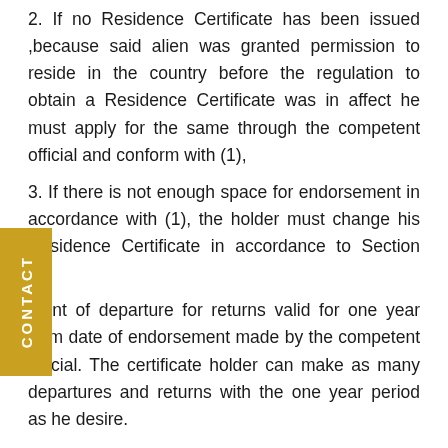2. If no Residence Certificate has been issued ,because said alien was granted permission to reside in the country before the regulation to obtain a Residence Certificate was in affect he must apply for the same through the competent official and conform with (1),
3. If there is not enough space for endorsement in accordance with (1), the holder must change his Residence Certificate in accordance to Section 52.
ment of departure for returns valid for one year from date of endorsement made by the competent official. The certificate holder can make as many departures and returns with the one year period as he desire.
A fee must be paid as prescribed in the Ministerial Regulations for notification of departure for return and for issuing a residence Certificate in reference to (2).
Section 51 : Any alien who has formerly resided in the Kingdom but has gone on a notification of departure for return...